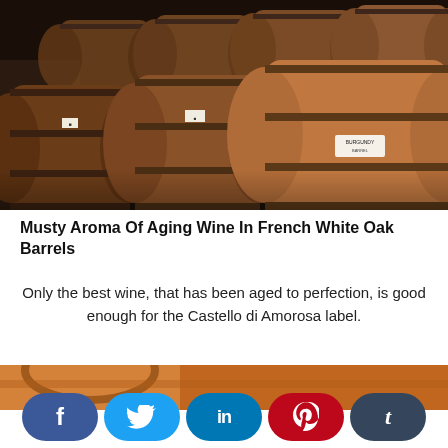[Figure (photo): Rows of large wooden wine barrels stacked in a dimly lit cellar, with a label visible on one barrel reading 'BURGUNDY' or similar text.]
Musty Aroma Of Aging Wine In French White Oak Barrels
Only the best wine, that has been aged to perfection, is good enough for the Castello di Amorosa label.
[Figure (photo): Close-up of wine barrels with orange/terracotta colored rims, partially visible at the bottom of the page.]
[Figure (other): Social media sharing buttons: Facebook (dark blue), Twitter (light blue), LinkedIn (blue), Pinterest (red), Tumblr (dark blue-gray).]